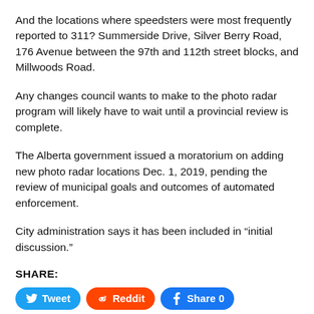And the locations where speedsters were most frequently reported to 311? Summerside Drive, Silver Berry Road, 176 Avenue between the 97th and 112th street blocks, and Millwoods Road.
Any changes council wants to make to the photo radar program will likely have to wait until a provincial review is complete.
The Alberta government issued a moratorium on adding new photo radar locations Dec. 1, 2019, pending the review of municipal goals and outcomes of automated enforcement.
City administration says it has been included in “initial discussion.”
SHARE:
Tweet | Reddit | Share 0